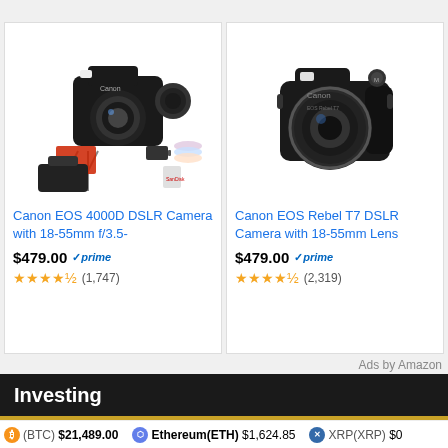[Figure (screenshot): Amazon product listing: Canon EOS 4000D DSLR Camera with 18-55mm f/3.5- with accessories bundle, $479.00, Prime, 4.5 stars, (1,747) reviews]
Canon EOS 4000D DSLR Camera with 18-55mm f/3.5-
$479.00 ✓prime ★★★★½ (1,747)
[Figure (screenshot): Amazon product listing: Canon EOS Rebel T7 DSLR Camera with 18-55mm Lens, $479.00, Prime, 4.5 stars, (2,319) reviews]
Canon EOS Rebel T7 DSLR Camera with 18-55mm Lens
$479.00 ✓prime ★★★★½ (2,319)
Ads by Amazon
Investing
[Figure (photo): Thumbnail image showing a man with text TIME TO SELL IS NOW]
Harry Dent: The Stock Market Crash of 2022 – Do THIS Now!
(BTC) $21,489.00   Ethereum(ETH) $1,624.85   XRP(XRP) $0...